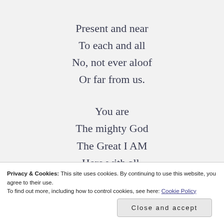Present and near
To each and all
No, not ever aloof
Or far from us.

You are
The mighty God
The Great I AM
Here with all.

Emmanuel
The only God
Privacy & Cookies: This site uses cookies. By continuing to use this website, you agree to their use.
To find out more, including how to control cookies, see here: Cookie Policy
Close and accept
And in You